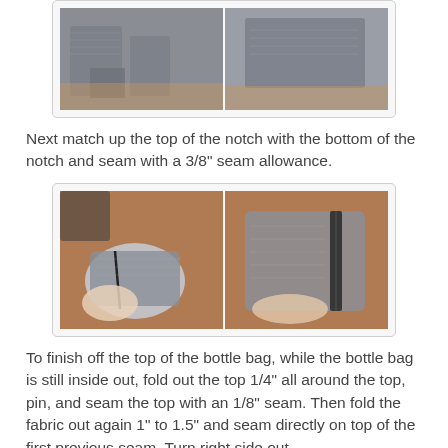[Figure (photo): Two side-by-side photos of grey fabric pieces laid out on a wooden surface showing cut fabric panels for a bottle bag project.]
Next match up the top of the notch with the bottom of the notch and seam with a 3/8" seam allowance.
[Figure (photo): Two side-by-side photos showing hands holding grey fabric with a zipper being matched and seamed at the notch.]
To finish off the top of the bottle bag, while the bottle bag is still inside out, fold out the top 1/4" all around the top, pin, and seam the top with an 1/8" seam. Then fold the fabric out again 1" to 1.5" and seam directly on top of the first previous seam. Turn right side out.